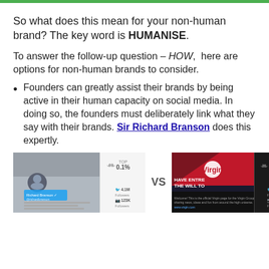So what does this mean for your non-human brand? The key word is HUMANISE.
To answer the follow-up question – HOW, here are options for non-human brands to consider.
Founders can greatly assist their brands by being active in their human capacity on social media. In doing so, the founders must deliberately link what they say with their brands. Sir Richard Branson does this expertly.
[Figure (screenshot): Two side-by-side social media profile screenshots. Left: Richard Branson personal Twitter/Instagram profile with TOP 0.1% badge, 4.1M Twitter followers, 123K Instagram followers. VS label in middle. Right: Virgin brand page with TOP 1% badge showing 'HAVE ENTREPRENEURS THE WILL TO...' banner, 126.9K Twitter followers, 602 Instagram followers.]